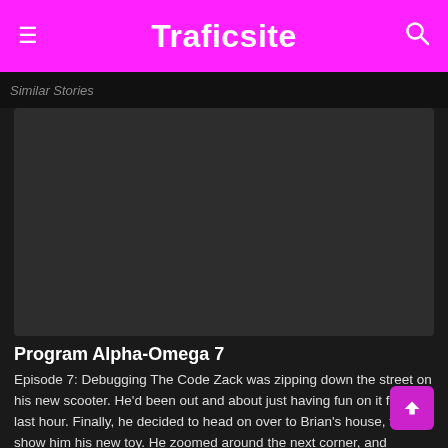Traficsite
Similar Stories
[Figure (other): Dark placeholder image area for video or article thumbnail]
Program Alpha-Omega 7
Episode 7: Debugging The Code Zack was zipping down the street on his new scooter. He'd been out and about just having fun on it for the last hour. Finally, he decided to head on over to Brian's house, to show him his new toy. He zoomed around the next corner, and headed off for that part of town. Zack noticed immediately that Brian's pickup truck was gone, so Brian was almost certainly not home. Oh well, he thought. I'll show it Wendy, then. Zack knocked on the door, and then